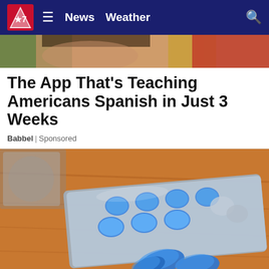News  Weather
[Figure (photo): Partial view of a person's face, appears to be a child or young person, overlaid with colorful background (green, gold, red) suggesting a flag motif]
The App That’s Teaching Americans Spanish in Just 3 Weeks
Babbel | Sponsored
[Figure (photo): Close-up photo of blue pills/tablets on a wooden surface, with a blister pack of blue pills in the background]
[Figure (photo): Ashley Furniture advertisement banner showing Labor Day Sale with Ashley Cash offer up to $305]